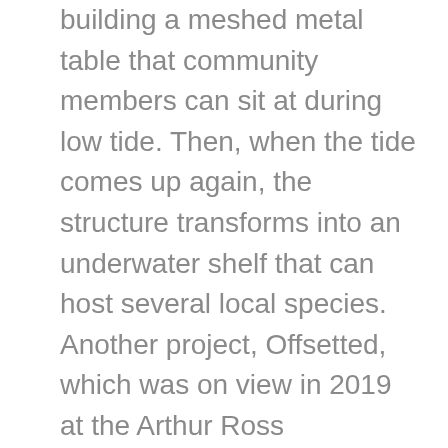building a meshed metal table that community members can sit at during low tide. Then, when the tide comes up again, the structure transforms into an underwater shelf that can host several local species. Another project, Offsetted, which was on view in 2019 at the Arthur Ross Architecture Gallery in New York, questioned the validity of offsetting carbon emissions, which essentially turns trees into cash, making nature, yet again, into an involuntary maintainer of the capitalist economy. And while their work might come up in an